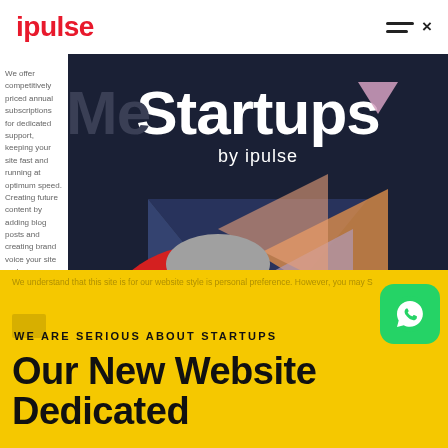ipulse
[Figure (screenshot): Dark navy hero banner for 'Made for Startups by ipulse' with geometric shapes (triangles, squares) in pink, orange, teal, and mauve colors; a red circle with a black-and-white portrait of an older man with glasses; and a yellow circle partially visible on the right with a woman's hair/bun visible.]
We offer competitively priced annual subscriptions for dedicated support, keeping your site fast and running at optimum speed. Creating future content by adding blog posts and creating brand voice your site and...
We understand that this site is for our website style is personal preference. However, you may S...
WE ARE SERIOUS ABOUT STARTUPS
Our New Website Dedicated...